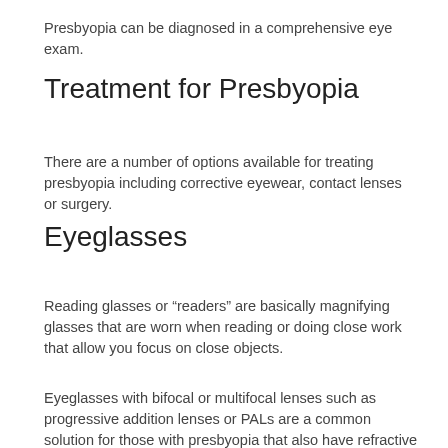Presbyopia can be diagnosed in a comprehensive eye exam.
Treatment for Presbyopia
There are a number of options available for treating presbyopia including corrective eyewear, contact lenses or surgery.
Eyeglasses
Reading glasses or “readers” are basically magnifying glasses that are worn when reading or doing close work that allow you focus on close objects.
Eyeglasses with bifocal or multifocal lenses such as progressive addition lenses or PALs are a common solution for those with presbyopia that also have refractive error (nearsightedness, farsightedness or astigmatism). Bifocals have lenses with two lens prescriptions; one area (usually the upper portion) for distance vision and the second area for near vision. Progressive addition lenses or PALs similarly provide lens power for both near and distance vision but rather than being divided into two hemispheres, they are made with a gradual transition of lens